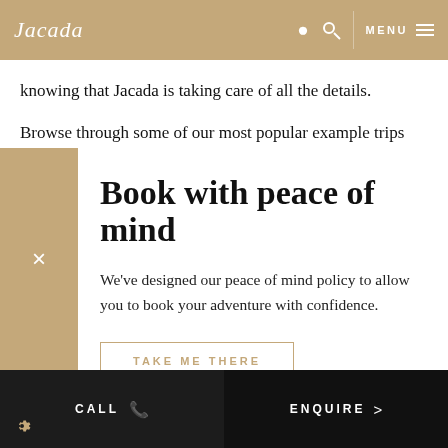Jacada | MENU
knowing that Jacada is taking care of all the details.
Browse through some of our most popular example trips below, and call one of our expert Chile Travel Designers to start planning
Book with peace of mind
We've designed our peace of mind policy to allow you to book your adventure with confidence.
TAKE ME THERE
CALL  ENQUIRE